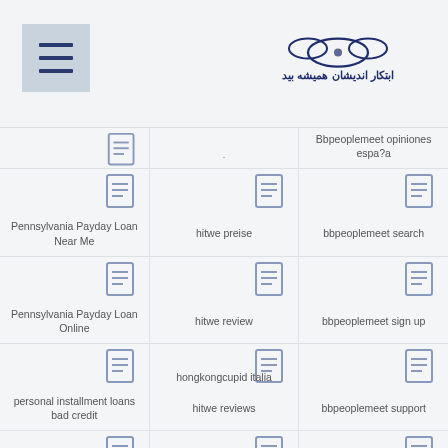Menu icon and Arabic/Persian logo
Pennsylvania Payday Loan Near Me
hitwe preise
Bbpeoplemeet opiniones espa?a
Pennsylvania Payday Loan Online
hitwe review
bbpeoplemeet search
personal installment loans bad credit
hitwe reviews
bbpeoplemeet sign up
hongkongcupid italia
bbpeoplemeet support